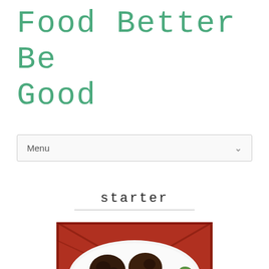Food Better Be Good
Menu
starter
[Figure (photo): Photo of Rajma Kebab — dark fried bean patties/balls on a white plate with red chili pepper slices and fresh green herbs/coriander garnish, with a red plaid background. Text overlay reads 'Rajma Kebab'.]